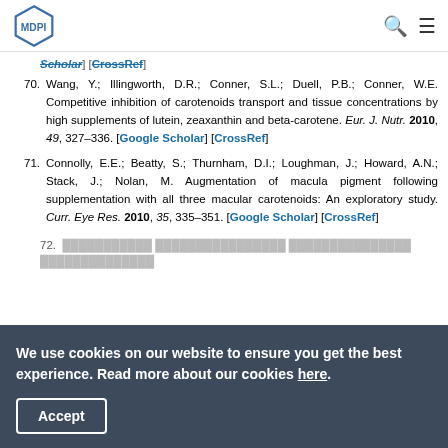MDPI
Scholar] [CrossRef]
70. Wang, Y.; Illingworth, D.R.; Conner, S.L.; Duell, P.B.; Conner, W.E. Competitive inhibition of carotenoids transport and tissue concentrations by high supplements of lutein, zeaxanthin and beta-carotene. Eur. J. Nutr. 2010, 49, 327–336. [Google Scholar] [CrossRef]
71. Connolly, E.E.; Beatty, S.; Thurnham, D.I.; Loughman, J.; Howard, A.N.; Stack, J.; Nolan, M. Augmentation of macula pigment following supplementation with all three macular carotenoids: An exploratory study. Curr. Eye Res. 2010, 35, 335–351. [Google Scholar] [CrossRef]
72. (partial, cut off)
We use cookies on our website to ensure you get the best experience. Read more about our cookies here. Accept